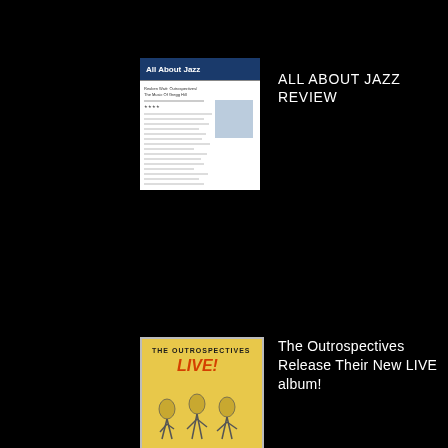[Figure (screenshot): All About Jazz website screenshot thumbnail showing a review page]
ALL ABOUT JAZZ REVIEW
[Figure (illustration): The Outrospectives LIVE album cover with yellow background and cartoon figures]
The Outrospectives Release Their New LIVE album!
[Figure (photo): Photo of Ben Rosenblum, a man in a blue room]
Ben Rosenblum: "Portrait of the Artist"
[Figure (illustration): Portrait of the Artist album cover with purple background]
PORTRAIT OF THE ARTIST The Music of Gregg Hill Featuring